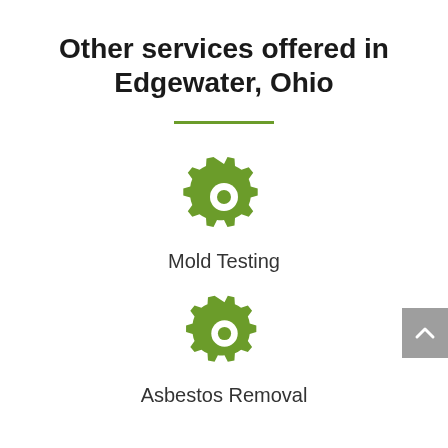Other services offered in Edgewater, Ohio
[Figure (illustration): Green gear/settings icon representing a service]
Mold Testing
[Figure (illustration): Green gear/settings icon representing a service]
Asbestos Removal